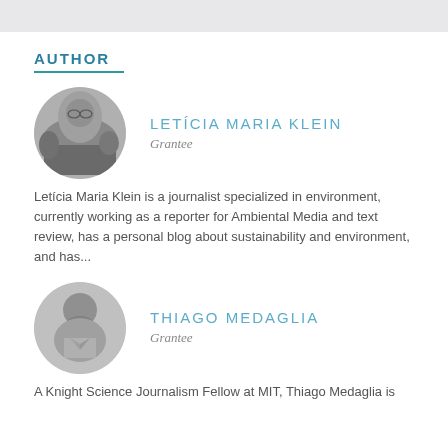AUTHOR
[Figure (photo): Circular black and white photo of Letícia Maria Klein, a woman with glasses outdoors with trees in background]
LETÍCIA MARIA KLEIN
Grantee
Letícia Maria Klein is a journalist specialized in environment, currently working as a reporter for Ambiental Media and text review, has a personal blog about sustainability and environment, and has...
[Figure (photo): Circular black and white photo of Thiago Medaglia, a man with a beard smiling]
THIAGO MEDAGLIA
Grantee
A Knight Science Journalism Fellow at MIT, Thiago Medaglia is